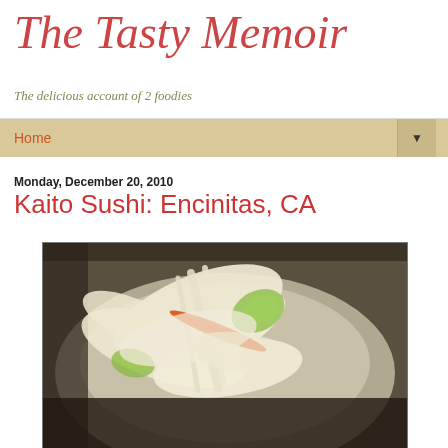The Tasty Memoir — The delicious account of 2 foodies
Home
Monday, December 20, 2010
Kaito Sushi: Encinitas, CA
[Figure (photo): A ceramic bowl containing thinly sliced fish sashimi or sunomono salad with cucumber slices and an orange/red accent, likely a Japanese appetizer dish served at Kaito Sushi in Encinitas, CA.]